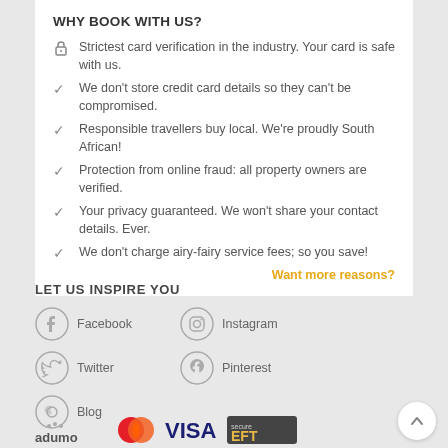WHY BOOK WITH US?
Strictest card verification in the industry. Your card is safe with us.
We don't store credit card details so they can't be compromised.
Responsible travellers buy local. We're proudly South African!
Protection from online fraud: all property owners are verified.
Your privacy guaranteed. We won't share your contact details. Ever.
We don't charge airy-fairy service fees; so you save!
Want more reasons?
LET US INSPIRE YOU
Facebook
Instagram
Twitter
Pinterest
Blog
[Figure (logo): adumo logo, Mastercard logo, VISA logo, Secure EFT logo]